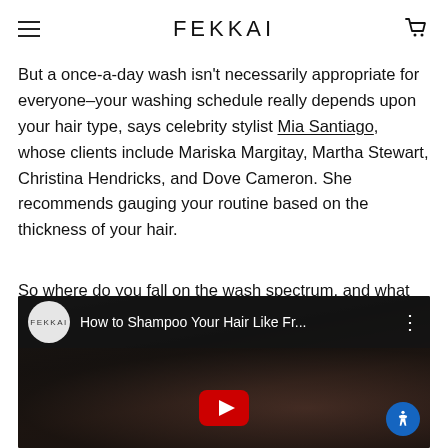FEKKAI
But a once-a-day wash isn't necessarily appropriate for everyone–your washing schedule really depends upon your hair type, says celebrity stylist Mia Santiago, whose clients include Mariska Margitay, Martha Stewart, Christina Hendricks, and Dove Cameron. She recommends gauging your routine based on the thickness of your hair.
So where do you fall on the wash spectrum, and what formula is the best fit for your strands, to keep them healthy and breakage-free? Keep scrolling for all the dirt on cleansing your hair.
[Figure (screenshot): YouTube video thumbnail with FEKKAI logo circle, title 'How to Shampoo Your Hair Like Fr...' and a dark hair/washing background with YouTube play button and accessibility icon]